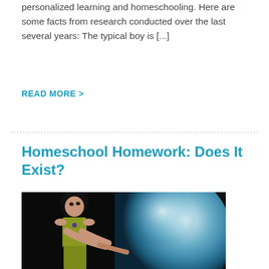personalized learning and homeschooling. Here are some facts from research conducted over the last several years: The typical boy is [...]
READ MORE >
Homeschool Homework: Does It Exist?
[Figure (photo): A young girl with dark hair looking upward, reaching toward a large glowing sphere or globe against a dark background]